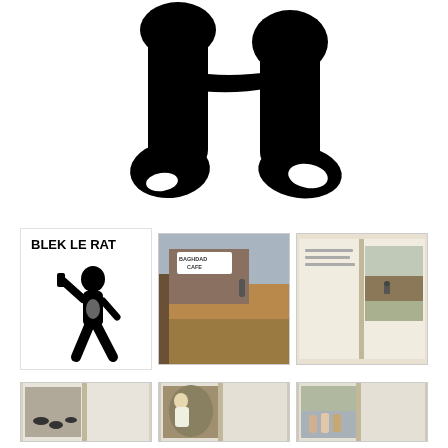[Figure (illustration): Large black and white silhouette image showing the lower legs and feet of a person walking, rendered in high-contrast black ink on white background. The image spans the full width of the page.]
[Figure (illustration): Book cover or print: 'BLEK LE RAT' text at top in bold, with a black and white stencil-style illustration of a nude male figure holding what appears to be a spray can.]
[Figure (photo): Color photograph of 'Baghdad Cafe' signage visible, an exterior scene with a building, person in background, warm desert tones.]
[Figure (photo): Open book spread showing a color photograph of a person on a bicycle near rubble/ruins in a desert landscape.]
[Figure (photo): Open book spread showing black and white street art image of rats/animals on a wall, with text visible around the image.]
[Figure (photo): Open book spread showing a color photograph of a man working on or examining a large face/mural painting.]
[Figure (photo): Open book spread showing a color photograph of three people standing in front of a large mural/graffiti wall.]
[Figure (photo): Open book spread showing a color photograph at bottom of page, partially visible, appears to show an outdoor scene.]
[Figure (photo): Open book spread showing a black and white photograph of a man in a suit, partially visible at bottom of page.]
[Figure (photo): Open book spread showing a colorful/vibrant image at bottom right of page, partially visible.]